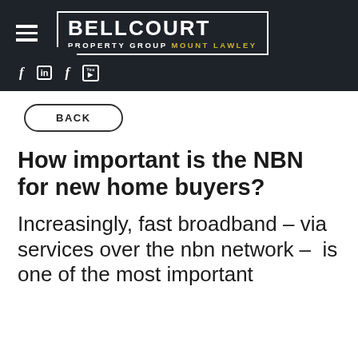BELLCOURT PROPERTY GROUP MOUNT LAWLEY
BACK
How important is the NBN for new home buyers?
Increasingly, fast broadband – via services over the nbn network –  is one of the most important